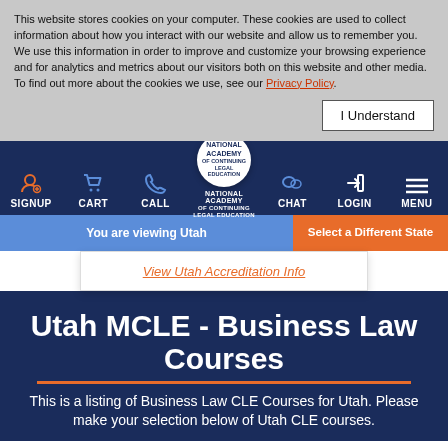This website stores cookies on your computer. These cookies are used to collect information about how you interact with our website and allow us to remember you. We use this information in order to improve and customize your browsing experience and for analytics and metrics about our visitors both on this website and other media. To find out more about the cookies we use, see our Privacy Policy.
[Figure (screenshot): National Academy of Continuing Legal Education navigation bar with icons for SIGNUP, CART, CALL, center logo, CHAT, LOGIN, MENU]
You are viewing Utah
Select a Different State
View Utah Accreditation Info
Utah MCLE - Business Law Courses
This is a listing of Business Law CLE Courses for Utah. Please make your selection below of Utah CLE courses.